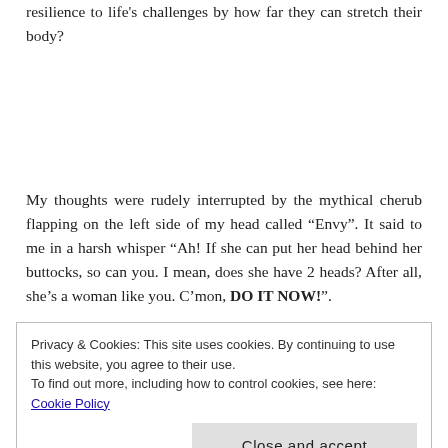resilience to life's challenges by how far they can stretch their body?
My thoughts were rudely interrupted by the mythical cherub flapping on the left side of my head called “Envy”. It said to me in a harsh whisper “Ah! If she can put her head behind her buttocks, so can you. I mean, does she have 2 heads? After all, she’s a woman like you. C’mon, DO IT NOW!”.
Privacy & Cookies: This site uses cookies. By continuing to use this website, you agree to their use.
To find out more, including how to control cookies, see here: Cookie Policy
Close and accept